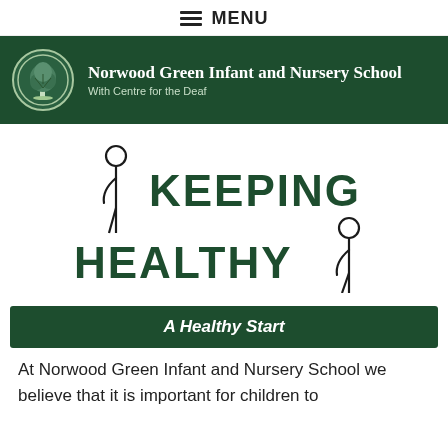MENU
[Figure (logo): Norwood Green Infant and Nursery School logo with tree illustration in a circle, white on dark green background, with school name and subtitle 'With Centre for the Deaf']
[Figure (illustration): Two stick figures (person icons) with text 'KEEPING HEALTHY' in dark green bold font between and around them, arranged over two lines]
A Healthy Start
At Norwood Green Infant and Nursery School we believe that it is important for children to